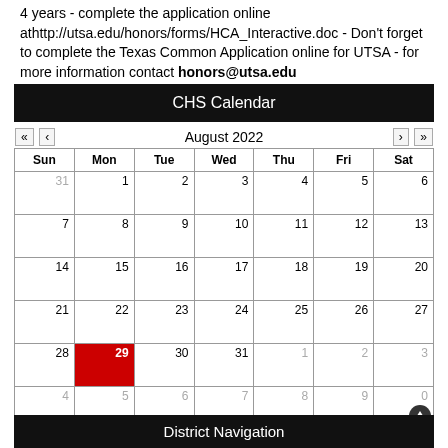4 years - complete the application online at http://utsa.edu/honors/forms/HCA_Interactive.doc - Don't forget to complete the Texas Common Application online for UTSA - for more information contact honors@utsa.edu
CHS Calendar
[Figure (other): August 2022 calendar with navigation arrows, days of week header (Sun-Sat), dates 1-31 plus overflow days, day 29 highlighted in red]
District Navigation